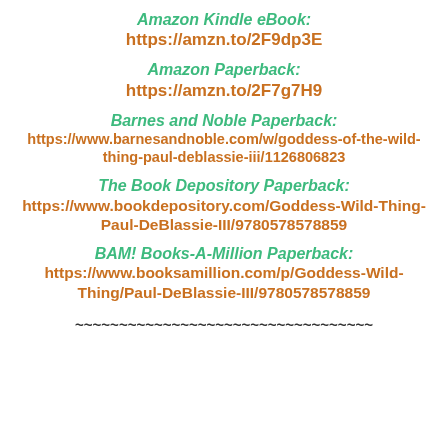Amazon Kindle eBook:
https://amzn.to/2F9dp3E
Amazon Paperback:
https://amzn.to/2F7g7H9
Barnes and Noble Paperback:
https://www.barnesandnoble.com/w/goddess-of-the-wild-thing-paul-deblassie-iii/1126806823
The Book Depository Paperback:
https://www.bookdepository.com/Goddess-Wild-Thing-Paul-DeBlassie-III/9780578578859
BAM! Books-A-Million Paperback:
https://www.booksamillion.com/p/Goddess-Wild-Thing/Paul-DeBlassie-III/9780578578859
~~~~~~~~~~~~~~~~~~~~~~~~~~~~~~~~~~